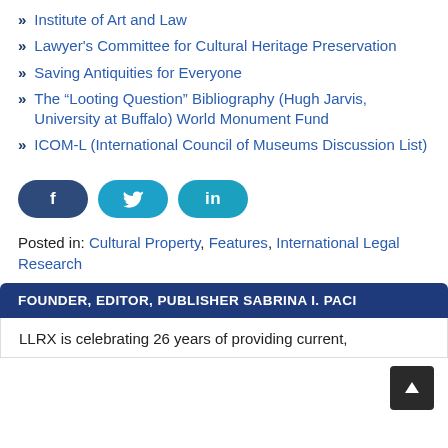Institute of Art and Law
Lawyer's Committee for Cultural Heritage Preservation
Saving Antiquities for Everyone
The “Looting Question” Bibliography (Hugh Jarvis, University at Buffalo) World Monument Fund
ICOM-L (International Council of Museums Discussion List)
[Figure (other): Social share buttons: Facebook (f), Twitter (bird), LinkedIn (in)]
Posted in: Cultural Property, Features, International Legal Research
FOUNDER, EDITOR, PUBLISHER SABRINA I. PACI
LLRX is celebrating 26 years of providing current,